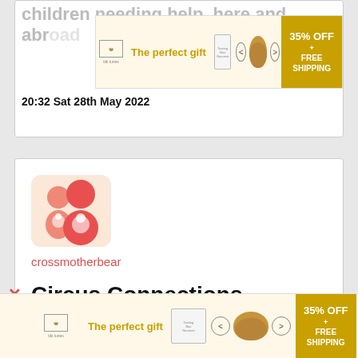children needing help, here and abr...
[Figure (infographic): Advertisement banner: The perfect gift with food bowl image, navigation arrows, and 35% OFF + FREE SHIPPING badge]
20:32 Sat 28th May 2022
[Figure (illustration): Profile icon showing stylized figures in pink/red tones, resembling a community or family symbol]
crossmotherbear
Circus Connections. Raising money for Water Aid. Transforming lives by improving access to safe water, hygiene and sanitation. Answers are a
[Figure (infographic): Bottom advertisement banner: The perfect gift with food bowl image, navigation arrows, and 35% OFF + FREE SHIPPING badge]